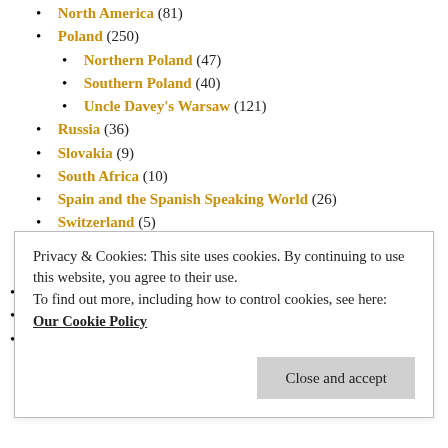North America (81)
Poland (250)
Northern Poland (47)
Southern Poland (40)
Uncle Davey's Warsaw (121)
Russia (36)
Slovakia (9)
South Africa (10)
Spain and the Spanish Speaking World (26)
Switzerland (5)
Turkey (22)
Ukraine (11)
Tribute (2)
Twenty Lots of Twenty (1)
Uncle Davey's Natural Selection (163)
Birds and Mammals (74)
Fish and Aquaria (41)
Privacy & Cookies: This site uses cookies. By continuing to use this website, you agree to their use. To find out more, including how to control cookies, see here: Our Cookie Policy
Close and accept